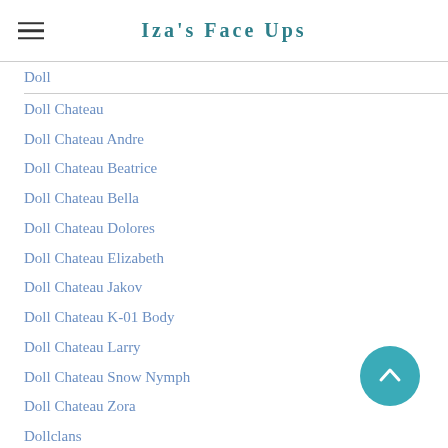Iza's Face Ups
Doll
Doll Chateau
Doll Chateau Andre
Doll Chateau Beatrice
Doll Chateau Bella
Doll Chateau Dolores
Doll Chateau Elizabeth
Doll Chateau Jakov
Doll Chateau K-01 Body
Doll Chateau Larry
Doll Chateau Snow Nymph
Doll Chateau Zora
Dollclans
Dollclans Vezeto
Doll Family A
Doll Family-A
Doll Family A Aurea
Doll Family-A Aurea